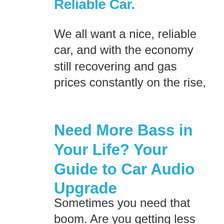Reliable Car.
We all want a nice, reliable car, and with the economy still recovering and gas prices constantly on the rise,
Need More Bass in Your Life? Your Guide to Car Audio Upgrade
Sometimes you need that boom. Are you getting less boom and